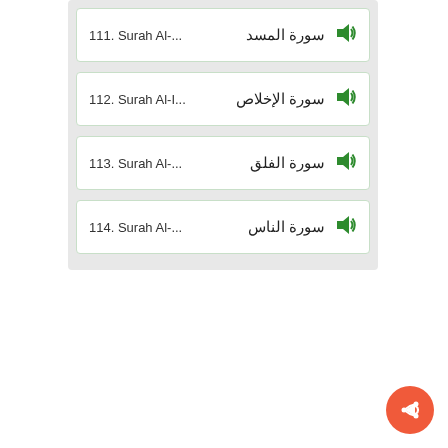111. Surah Al-... سورة المسد
112. Surah Al-I... سورة الإخلاص
113. Surah Al-... سورة الفلق
114. Surah Al-... سورة الناس
[Figure (illustration): Orange circular FAB button with a share/forward arrow icon in the bottom right corner]